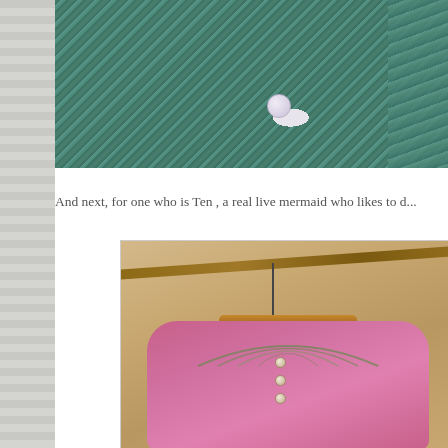[Figure (photo): Close-up photograph of a teal/green knitted fabric with a white button visible, showing Fair Isle or textured knitting pattern]
And next, for one who is Ten , a real live mermaid who likes to d...
[Figure (photo): A pink children's cardigan sweater with green yoke decoration and small buttons, hung on a wooden/twig hanger against a warm wooden background]